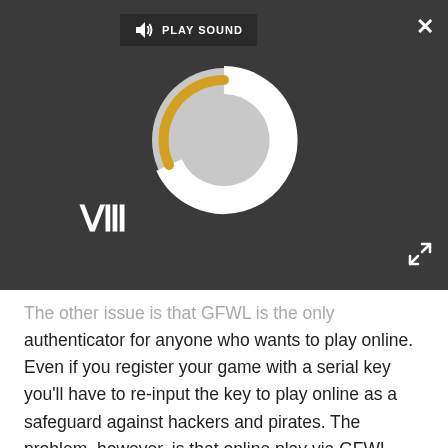[Figure (screenshot): Video player overlay with dark background showing a loading spinner (circular arc with yellow/gold partial circle on grey disc), a pause button (two vertical bars), a 'PLAY SOUND' toolbar at top left with speaker icon, a close (X) button at top right, and an expand button at bottom right.]
The other issue is that GFWL is the only authenticator for anyone who wants to play online. Even if you register your game with a serial key you'll have to re-input the key to play online as a safeguard against hackers and pirates. The problem, however, is that online play via GFWL works like an online pass, restricting online play to that singular account and that account alone. If you can't log into the account, if there are problems with GFWL, or the update fails, etc., etc., you simply cannot access the multiplayer.
Of course, this led many gamers to group up and